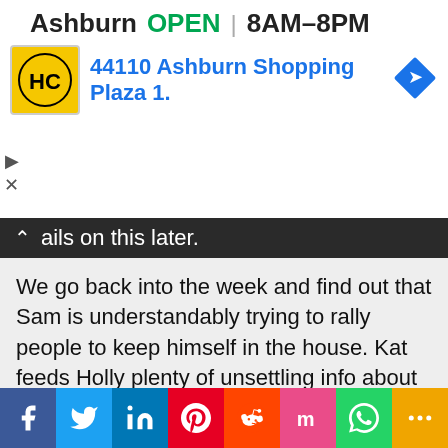[Figure (screenshot): Advertisement banner showing HC logo, 'Ashburn OPEN 8AM-8PM', address '44110 Ashburn Shopping Plaza 1.' with navigation arrow icon]
ails on this later.
We go back into the week and find out that Sam is understandably trying to rally people to keep himself in the house. Kat feeds Holly plenty of unsettling info about Christie and Tommy, which fuesl her distrust of the twosome. Meanwhile, Sam is feeding intel to
Privacy & Cookies: This site uses cookies to store information on your computer. Some are essential to make our site work. Others help us improve your user experience or to allow us to track behavior and user patterns. Our Policy
Close and accept
[Figure (screenshot): Social sharing bar with icons for Facebook, Twitter, LinkedIn, Pinterest, Reddit, Mix, WhatsApp, and More]